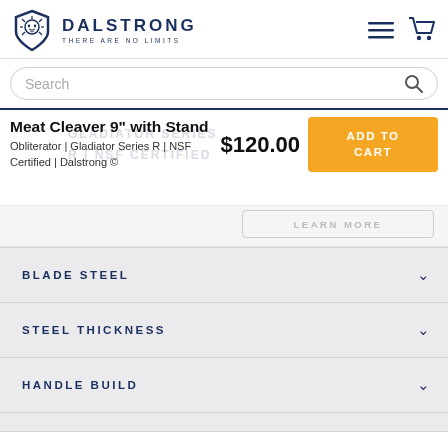DALSTRONG — THERE ARE NO LIMITS
Search
Meat Cleaver 9" with Stand
Obliterator | Gladiator Series R | NSF Certified | Dalstrong ©
$120.00
ADD TO CART
BLADE STEEL
STEEL THICKNESS
HANDLE BUILD